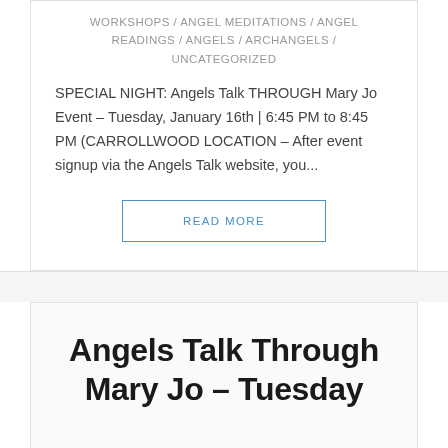WORKSHOPS / ANGEL MEDITATIONS / ANGEL READINGS / ANGELS / ARCHANGELS / UNCATEGORIZED
SPECIAL NIGHT: Angels Talk THROUGH Mary Jo Event – Tuesday, January 16th | 6:45 PM to 8:45 PM (CARROLLWOOD LOCATION – After event signup via the Angels Talk website, you...
READ MORE
Angels Talk Through Mary Jo – Tuesday